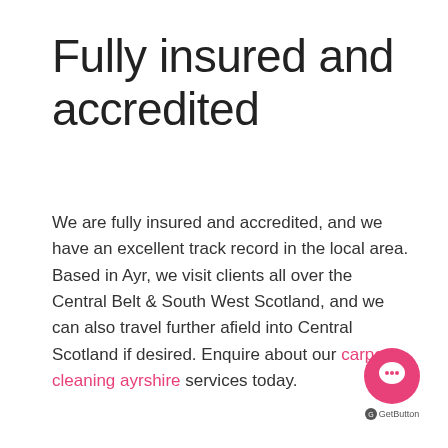Fully insured and accredited
We are fully insured and accredited, and we have an excellent track record in the local area. Based in Ayr, we visit clients all over the Central Belt & South West Scotland, and we can also travel further afield into Central Scotland if desired. Enquire about our carpet cleaning ayrshire services today.
[Figure (other): Pink circular chat button widget (GetButton) in the bottom right corner with a speech bubble icon and 'GetButton' label beneath it]